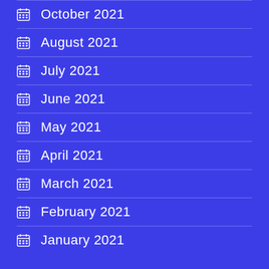October 2021
August 2021
July 2021
June 2021
May 2021
April 2021
March 2021
February 2021
January 2021